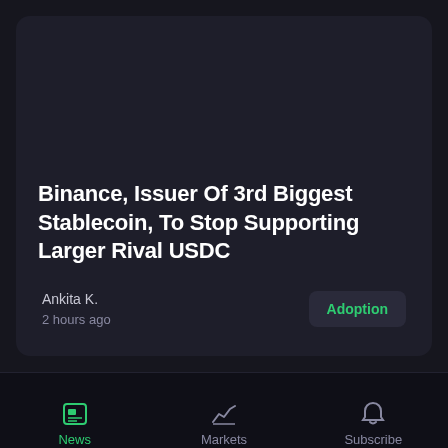Binance, Issuer Of 3rd Biggest Stablecoin, To Stop Supporting Larger Rival USDC
Ankita K.
2 hours ago
Adoption
News | Markets | Subscribe